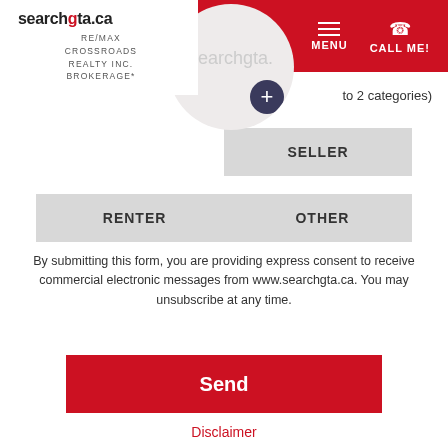searchgta.ca RE/MAX CROSSROADS REALTY INC. BROKERAGE* | MENU | CALL ME!
(up to 2 categories)
SELLER
RENTER
OTHER
By submitting this form, you are providing express consent to receive commercial electronic messages from www.searchgta.ca. You may unsubscribe at any time.
Send
Disclaimer
Find your perfect property
City, Address, Postal Code, MLS®#